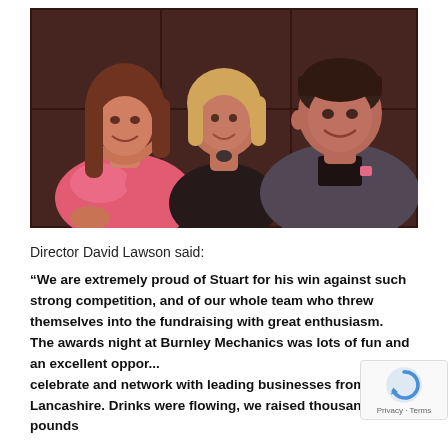[Figure (photo): Photo of three people smiling at a formal/awards event dinner. On the left is a woman with long brown hair wearing a pink/coral top. In the middle is a woman with short blonde hair wearing a black outfit. On the right is a man with short hair wearing a dark suit jacket with a pink pocket square. The background shows dark wooden paneling.]
Director David Lawson said:
“We are extremely proud of Stuart for his win against such strong competition, and of our whole team who threw themselves into the fundraising with great enthusiasm. The awards night at Burnley Mechanics was lots of fun and an excellent oppor... celebrate and network with leading businesses from all o... Lancashire. Drinks were flowing, we raised thousands of pounds